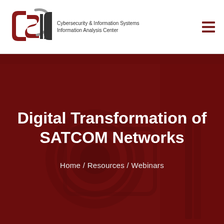[Figure (logo): CSIAC logo — stylized letters CS|AC in dark red and gray with circular swoosh element]
Cybersecurity & Information Systems Information Analysis Center
Digital Transformation of SATCOM Networks
Home / Resources / Webinars